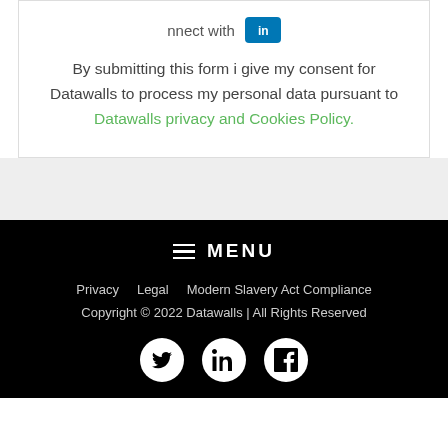By submitting this form i give my consent for Datawalls to process my personal data pursuant to Datawalls privacy and Cookies Policy.
MENU
Privacy   Legal   Modern Slavery Act Compliance
Copyright © 2022 Datawalls | All Rights Reserved